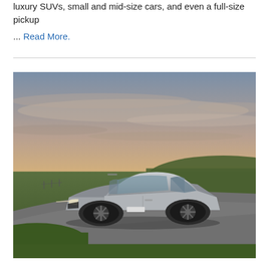luxury SUVs, small and mid-size cars, and even a full-size pickup
... Read More.
[Figure (photo): A silver Kia EV6 electric car driving on a country road at dusk, with a dramatic cloudy sunset sky and green grass fields in the background.]